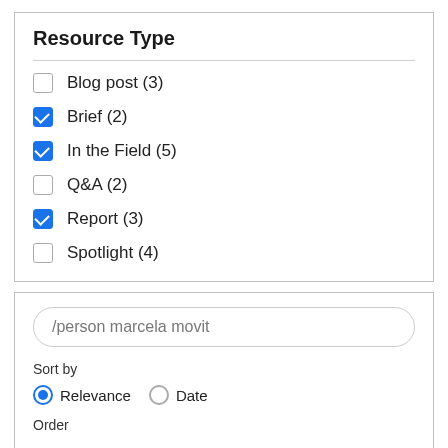Resource Type
Blog post (3)
Brief (2)
In the Field (5)
Q&A (2)
Report (3)
Spotlight (4)
/person marcela movit
Sort by
Relevance
Date
Order